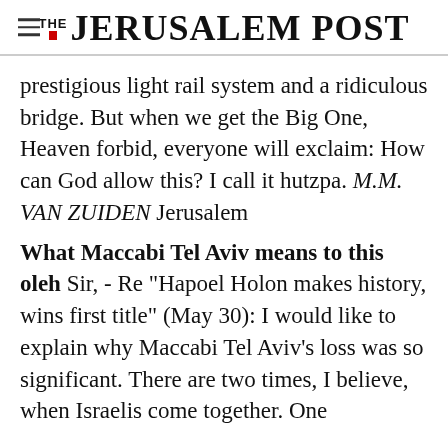THE JERUSALEM POST
prestigious light rail system and a ridiculous bridge. But when we get the Big One, Heaven forbid, everyone will exclaim: How can God allow this? I call it hutzpa. M.M. VAN ZUIDEN Jerusalem
What Maccabi Tel Aviv means to this oleh Sir, - Re "Hapoel Holon makes history, wins first title" (May 30): I would like to explain why Maccabi Tel Aviv's loss was so significant. There are two times, I believe, when Israelis come together. One
Advertisement